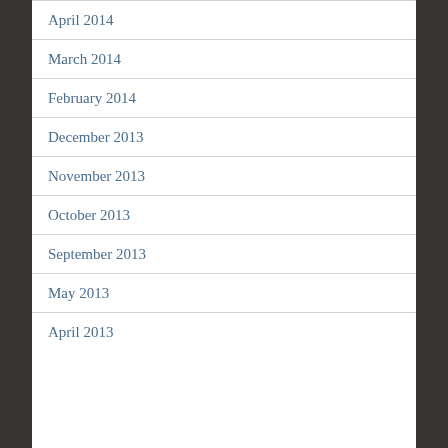April 2014
March 2014
February 2014
December 2013
November 2013
October 2013
September 2013
May 2013
April 2013